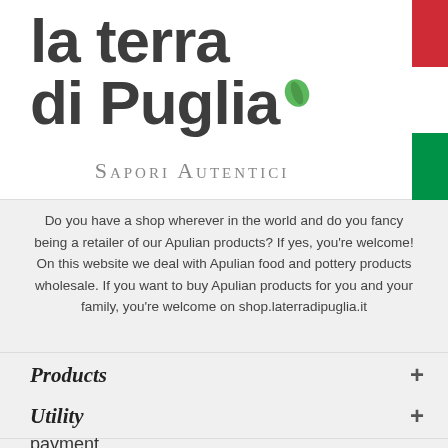[Figure (logo): La Terra di Puglia logo with green leaf accent, Sapori Autentici tagline, Made in Italy Italian flag stripe on right side]
Do you have a shop wherever in the world and do you fancy being a retailer of our Apulian products? If yes, you're welcome! On this website we deal with Apulian food and pottery products wholesale. If you want to buy Apulian products for you and your family, you're welcome on shop.laterradipuglia.it
Products
Utility
payment
[Figure (logo): Payment method icons: Mastercard, Visa, generic credit card, PayPal]
Contact Us